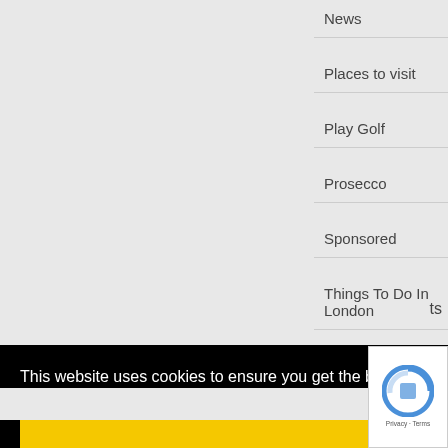News
Places to visit
Play Golf
Prosecco
Sponsored
Things To Do In London
ts
This website uses cookies to ensure you get the best experience on our website.
OK
[Figure (other): reCAPTCHA widget with logo and Privacy/Terms links]
wapping